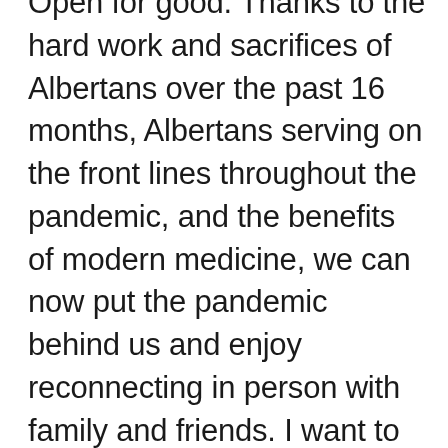Open for good. Thanks to the hard work and sacrifices of Albertans over the past 16 months, Albertans serving on the front lines throughout the pandemic, and the benefits of modern medicine, we can now put the pandemic behind us and enjoy reconnecting in person with family and friends. I want to say a special thank you to our health care workers who served selflessly through each wave of COVID-19, working tirelessly to save lives. While restrictions have been lifted, Albertans are encouraged to exercise discernment and continue to make decisions for